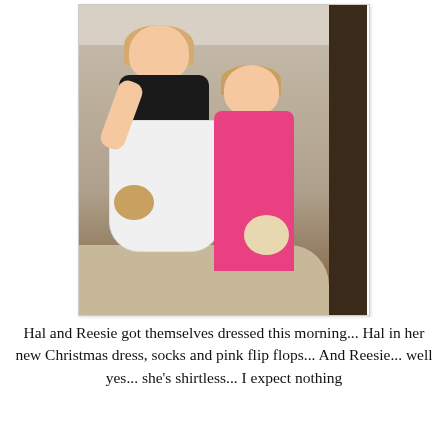[Figure (photo): Two young girls posing together indoors. The taller girl on the left wears a black top with a white floral dress, white socks, and pink flip flops, holding a stuffed animal dog. The smaller girl on the right wears a pink outfit (appears shirtless underneath) and holds a fluffy white stuffed animal. They are standing near a door in a carpeted room.]
Hal and Reesie got themselves dressed this morning... Hal in her new Christmas dress, socks and pink flip flops... And Reesie... well yes... she's shirtless... I expect nothing